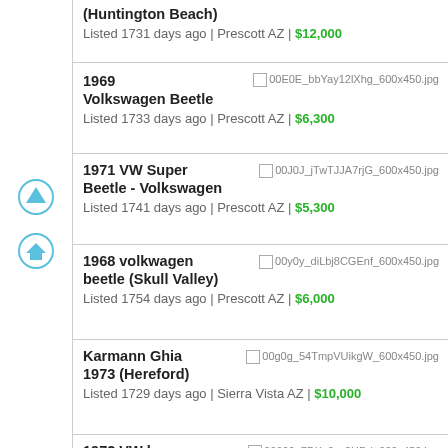(Huntington Beach)
Listed 1731 days ago | Prescott AZ | $12,000
1969 Volkswagen Beetle
Listed 1733 days ago | Prescott AZ | $6,300
1971 VW Super Beetle - Volkswagen
Listed 1741 days ago | Prescott AZ | $5,300
1968 volkwagen beetle (Skull Valley)
Listed 1754 days ago | Prescott AZ | $6,000
Karmann Ghia 1973 (Hereford)
Listed 1729 days ago | Sierra Vista AZ | $10,000
1972 VW bug ratrod project (Bisbee)
Listed 1730 days ago | Sierra Vista AZ | $1,700
01414_eogliCPXL9m_600x450.jpg